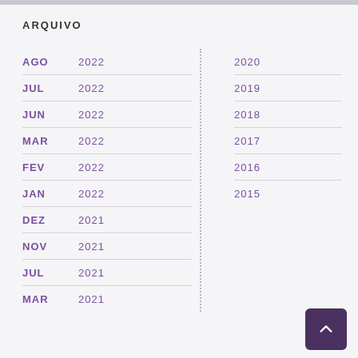ARQUIVO
AGO 2022
JUL 2022
JUN 2022
MAR 2022
FEV 2022
JAN 2022
DEZ 2021
NOV 2021
JUL 2021
MAR 2021
2020
2019
2018
2017
2016
2015